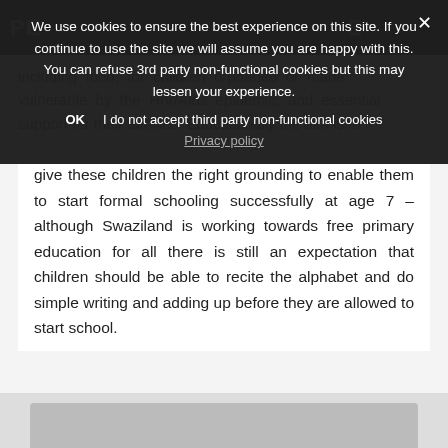PE...
We use cookies to ensure the best experience on this site. If you continue to use the site we will assume you are happy with this. You can refuse 3rd party non-functional cookies but this may lessen your experience.
OK   I do not accept third party non-functional cookies
Privacy policy
including food, for children orphaned or made vulnerable by the HIV/Aids epidemic, and essential support for their families. Educationally the aim is to give these children the right grounding to enable them to start formal schooling successfully at age 7 – although Swaziland is working towards free primary education for all there is still an expectation that children should be able to recite the alphabet and do simple writing and adding up before they are allowed to start school.
[Figure (photo): Partially visible image at the bottom of the page, cropped.]